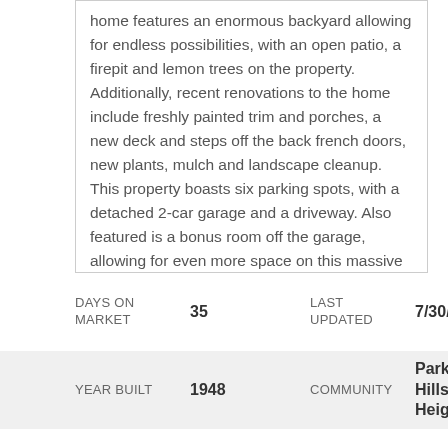home features an enormous backyard allowing for endless possibilities, with an open patio, a firepit and lemon trees on the property. Additionally, recent renovations to the home include freshly painted trim and porches, a new deck and steps off the back french doors, new plants, mulch and landscape cleanup. This property boasts six parking spots, with a detached 2-car garage and a driveway. Also featured is a bonus room off the garage, allowing for even more space on this massive property. Set right off Jefferson Boulevard and La Cienega, this home offers immediate access to local restaurants, shops and more. A rare opportunity to own a spacious home in a prime location.
| DAYS ON MARKET |  | LAST UPDATED |  |
| --- | --- | --- | --- |
| DAYS ON MARKET | 35 | LAST UPDATED | 7/30/2022 |
| YEAR BUILT | 1948 | COMMUNITY | Park Hills Heights |